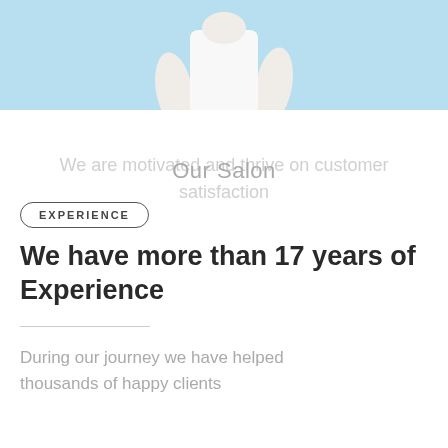[Figure (photo): Partial photo of a person wearing a white shirt against a light blue background, cropped to show torso and arms only]
Our Salon
We are motivated and thrive on customer satisfaction
EXPERIENCE
We have more than 17 years of Experience
During our journey we have helped thousands of happy clients